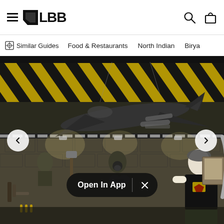LBB navigation header with hamburger menu, LBB logo, search icon, and bag icon
Similar Guides   Food & Restaurants   North Indian   Birya…
[Figure (photo): Interior of a military-themed restaurant or display. A model fighter jet (with BrahMos missile) hangs from ceiling with yellow and black striped ceiling panels. Below are military equipment, gear, binoculars, weapons, helmets, gas masks displayed on a stone-textured wall. A mannequin in black military t-shirt stands on the right. An 'Open In App' button overlay with X close button is shown at the bottom center. Left and right navigation arrows are present.]